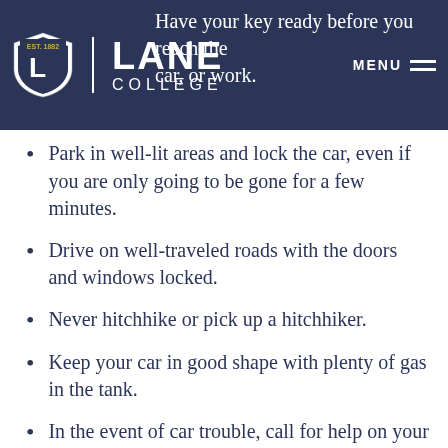Lane College — navigation header with logo and MENU
Have your key ready before you reach the car, or work.
Park in well-lit areas and lock the car, even if you are only going to be gone for a few minutes.
Drive on well-traveled roads with the doors and windows locked.
Never hitchhike or pick up a hitchhiker.
Keep your car in good shape with plenty of gas in the tank.
In the event of car trouble, call for help on your cell phone. If you don't have a phone, put the hood up, lock the doors, and put a banner in the window that says, "Help. Call Police."
Be careful about giving out personal